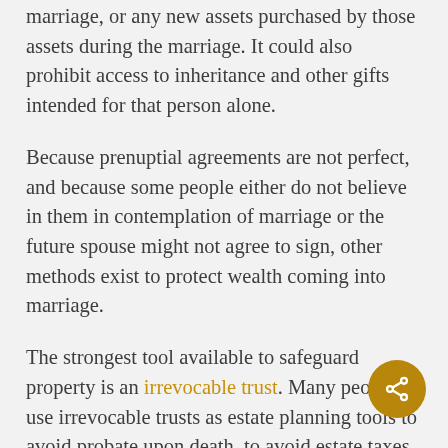marriage, or any new assets purchased by those assets during the marriage. It could also prohibit access to inheritance and other gifts intended for that person alone.
Because prenuptial agreements are not perfect, and because some people either do not believe in them in contemplation of marriage or the future spouse might not agree to sign, other methods exist to protect wealth coming into marriage.
The strongest tool available to safeguard property is an irrevocable trust. Many people use irrevocable trusts as estate planning tools to avoid probate upon death, to avoid estate taxes, and to assure that children and grandchildren have funds as intended by the grantors of the